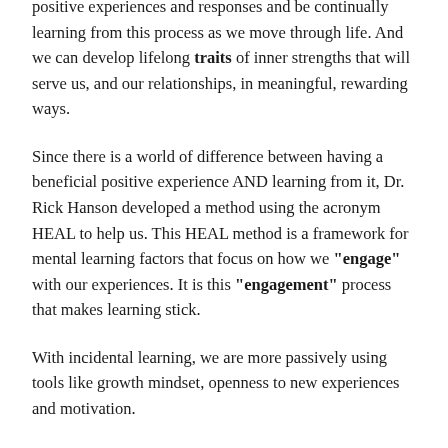positive experiences and responses and be continually learning from this process as we move through life. And we can develop lifelong traits of inner strengths that will serve us, and our relationships, in meaningful, rewarding ways.
Since there is a world of difference between having a beneficial positive experience AND learning from it, Dr. Rick Hanson developed a method using the acronym HEAL to help us. This HEAL method is a framework for mental learning factors that focus on how we "engage" with our experiences. It is this "engagement" process that makes learning stick.
With incidental learning, we are more passively using tools like growth mindset, openness to new experiences and motivation.
With the HEAL method, we proactively and